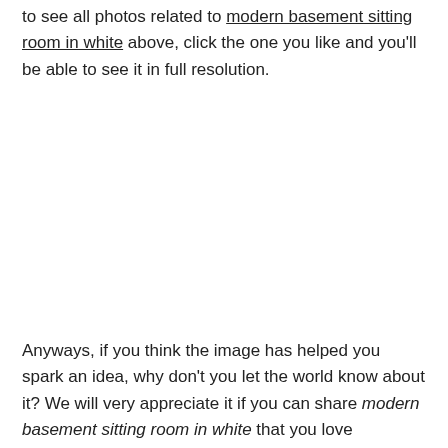to see all photos related to modern basement sitting room in white above, click the one you like and you'll be able to see it in full resolution.
Anyways, if you think the image has helped you spark an idea, why don't you let the world know about it? We will very appreciate it if you can share modern basement sitting room in white that you love